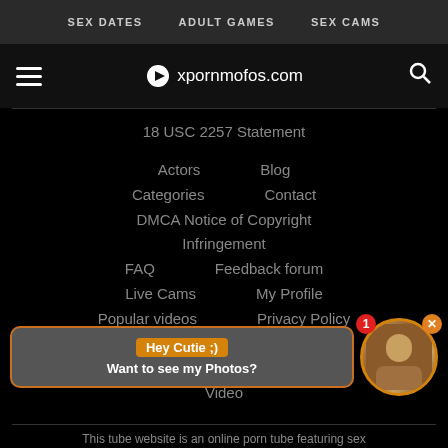SEX DATES   ADULT GAMES   SEX CAMS
xpornmofos.com
18 USC 2257 Statement
Actors
Blog
Categories
Contact
DMCA Notice of Copyright Infringement
FAQ
Feedback forum
Live Cams
My Profile
Popular videos
Privacy Policy
Sitemap
Submit a Video
Tags
Terms And Conditions
Video
Hey Cutie ;) Want to see my Photos?
This tube website is an online porn tube featuring sex